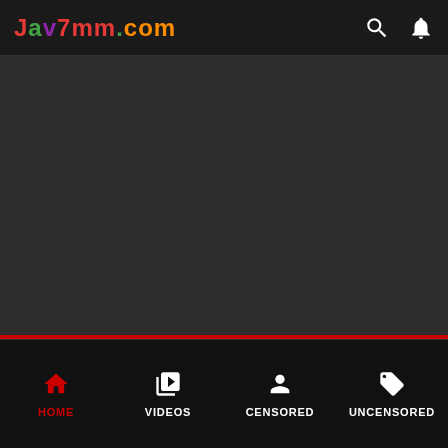Jav7mm.com
[Figure (screenshot): Dark main content area of a video streaming website]
HOME | VIDEOS | CENSORED | UNCENSORED